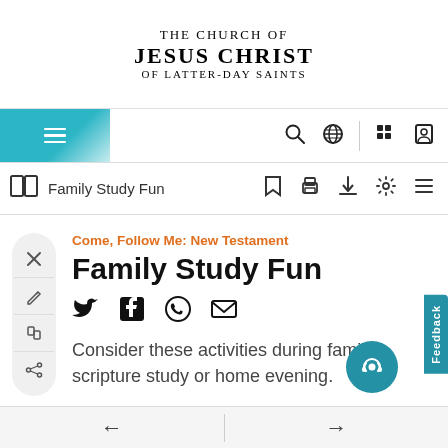THE CHURCH OF JESUS CHRIST OF LATTER-DAY SAINTS
[Figure (screenshot): Website navigation bar with hamburger menu, search, globe, grid, and profile icons]
[Figure (screenshot): Toolbar with book icon, Family Study Fun title, bookmark, print, download, settings, and list icons]
Come, Follow Me: New Testament
Family Study Fun
[Figure (infographic): Social sharing icons: Twitter, Facebook, WhatsApp, Email]
Consider these activities during family scripture study or home evening.
← →